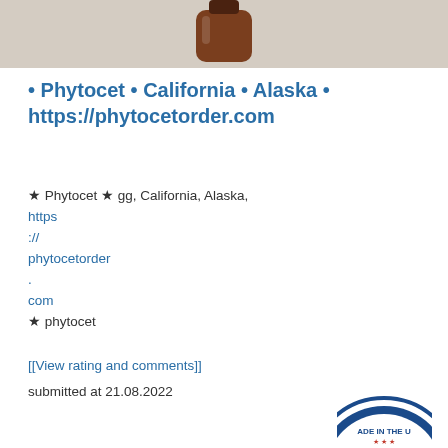[Figure (photo): Partial view of a brown supplement/medicine bottle at top of page against light background]
• Phytocet • California • Alaska • https://phytocetorder.com
★ Phytocet ★ gg, California, Alaska, https://phytocetorder.com
★ phytocet
[[View rating and comments]]
submitted at 21.08.2022
[Figure (logo): Partial 'Made in the USA' circular badge/seal visible at bottom right]